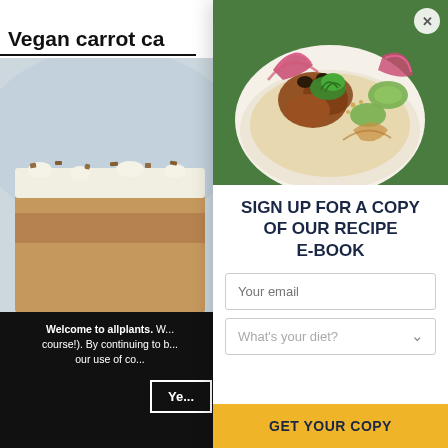Vegan carrot ca...
[Figure (photo): Blurred close-up photo of a slice of vegan carrot cake with white frosting on top]
Welcome to allplants. W... course!). By continuing to b... our use of co...
Ye...
[Figure (photo): Overhead photo of a bowl with roasted vegetables, red onions, cucumber, herbs, and sauce on a green background]
SIGN UP FOR A COPY OF OUR RECIPE E-BOOK
Your email
What's your diet?
GET YOUR COPY